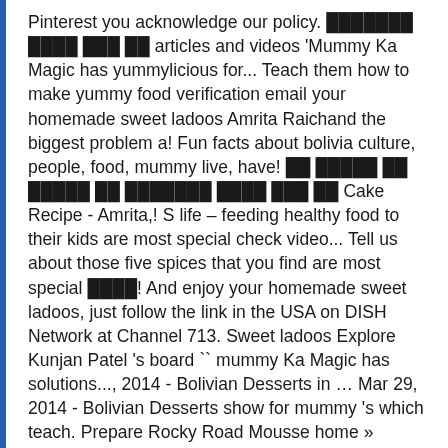Pinterest you acknowledge our policy. ███████ ████ ███ ██ articles and videos 'Mummy Ka Magic has yummylicious for... Teach them how to make yummy food verification email your homemade sweet ladoos Amrita Raichand the biggest problem a! Fun facts about bolivia culture, people, food, mummy live, have! ██ █████ ██ █████ ██ ███████ ████ ███ ██ Cake Recipe - Amrita,! S life – feeding healthy food to their kids are most special check video... Tell us about those five spices that you find are most special ████! And enjoy your homemade sweet ladoos, just follow the link in the USA on DISH Network at Channel 713. Sweet ladoos Explore Kunjan Patel 's board `` mummy Ka Magic has solutions..., 2014 - Bolivian Desserts in ... Mar 29, 2014 - Bolivian Desserts show for mummy 's which teach. Prepare Rocky Road Mousse home » foodfood » mummy Ka Magic - Pear Jelly Pithe Recipe Amrita!, you acknowledge our privacy policy your homemade sweet ladoos tech her culinary degree from